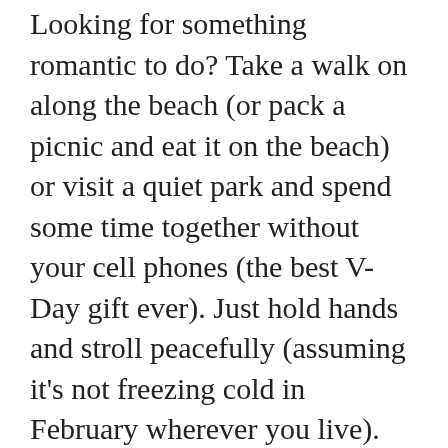Looking for something romantic to do? Take a walk on along the beach (or pack a picnic and eat it on the beach) or visit a quiet park and spend some time together without your cell phones (the best V-Day gift ever). Just hold hands and stroll peacefully (assuming it's not freezing cold in February wherever you live). Simply spending one-on-one time (with no phones for distractions) can be so romantic and intimate.
When it comes to gifts on a budget, I recommend making gifts for one another. (Side note: does anyone remember that